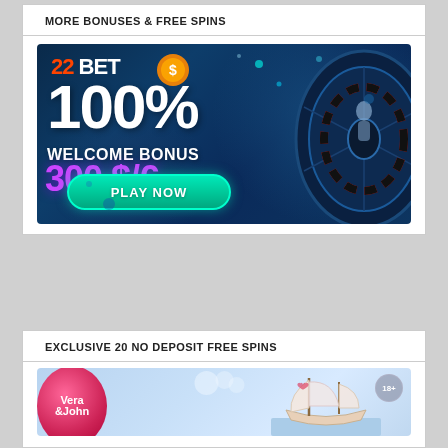MORE BONUSES & FREE SPINS
[Figure (illustration): 22BET casino advertisement banner showing 100% Welcome Bonus up to 300 $/€ with a roulette wheel and Play Now button on dark blue background]
EXCLUSIVE 20 NO DEPOSIT FREE SPINS
[Figure (illustration): Vera&John casino advertisement banner with pink logo ball and sailing ship on light blue background with 18+ badge]